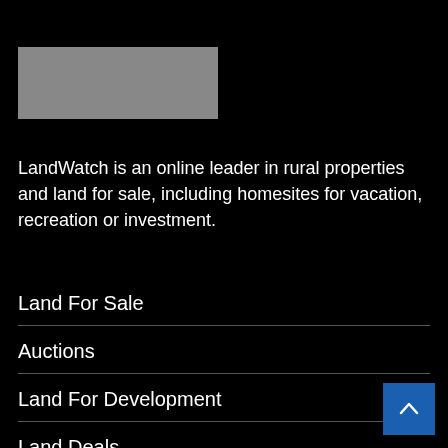[Figure (logo): Gray rectangular logo placeholder for LandWatch]
LandWatch is an online leader in rural properties and land for sale, including homesites for vacation, recreation or investment.
Land For Sale
Auctions
Land For Development
Land Deals